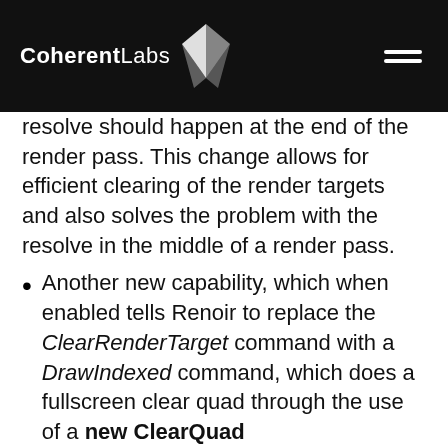Coherent Labs
resolve should happen at the end of the render pass. This change allows for efficient clearing of the render targets and also solves the problem with the resolve in the middle of a render pass.
Another new capability, which when enabled tells Renoir to replace the ClearRenderTarget command with a DrawIndexed command, which does a fullscreen clear quad through the use of a new ClearQuad